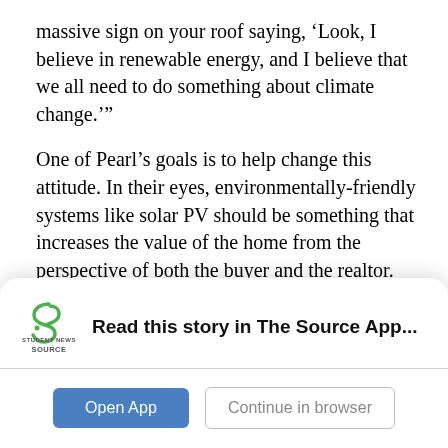massive sign on your roof saying, ‘Look, I believe in renewable energy, and I believe that we all need to do something about climate change.’”
One of Pearl’s goals is to help change this attitude. In their eyes, environmentally-friendly systems like solar PV should be something that increases the value of the home from the perspective of both the buyer and the realtor. With Pearl’s help, homeowners may be encouraged to try these eco-friendly options as they could become viewed as making the home worth more, not less.
“It’s kind of like the...
[Figure (logo): Student News Source logo - green swirl S icon with 'STUDENT NEWS SOURCE' text below]
Read this story in The Source App...
Open App
Continue in browser